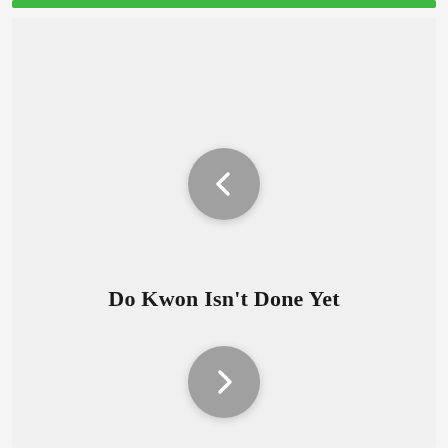[Figure (other): Green navigation bar at top of card]
[Figure (other): Previous navigation button: circular gray button with left-pointing chevron (‹)]
Do Kwon Isn't Done Yet
[Figure (other): Next navigation button: circular gray button with right-pointing chevron (›)]